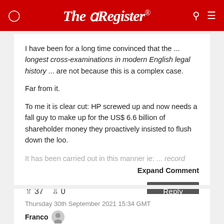The Register
I have been for a long time convinced that the ... longest cross-examinations in modern English legal history ... are not because this is a complex case.

Far from it.

To me it is clear cut: HP screwed up and now needs a fall guy to make up for the US$ 6.6 billion of shareholder money they proactively insisted to flush down the loo.

It has been carried out in this manner ie: ... record
Expand Comment
37 upvotes, 0 downvotes. Reply button.
Thursday 30th September 2021 15:34 GMT
Franco